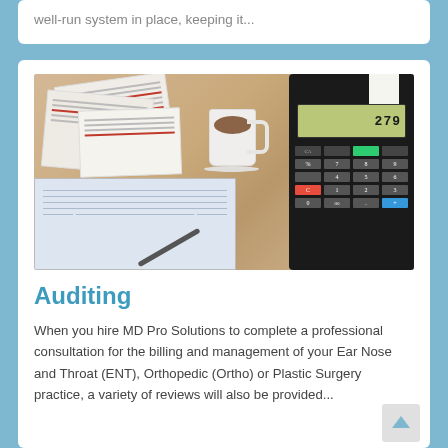well-run system in place, keeping it...
[Figure (photo): Photo of accounting/auditing materials on a wooden desk: receipts, papers, a white coffee mug, a ledger book with pen, and a printing calculator showing a number on its display.]
Auditing
When you hire MD Pro Solutions to complete a professional consultation for the billing and management of your Ear Nose and Throat (ENT), Orthopedic (Ortho) or Plastic Surgery practice, a variety of reviews will also be provided...